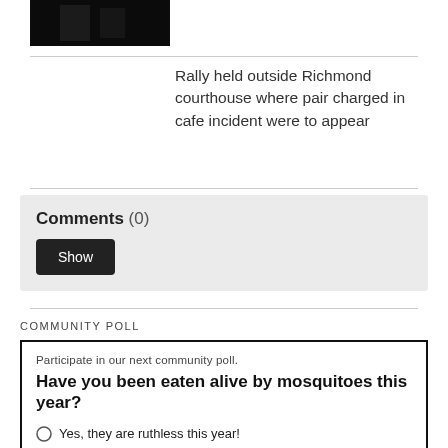[Figure (photo): Dark/black thumbnail photo of two people outdoors]
Rally held outside Richmond courthouse where pair charged in cafe incident were to appear
Comments (0)
Show
COMMUNITY POLL
Participate in our next community poll.
Have you been eaten alive by mosquitoes this year?
Yes, they are ruthless this year!
Only when I'm near tall grass or water.